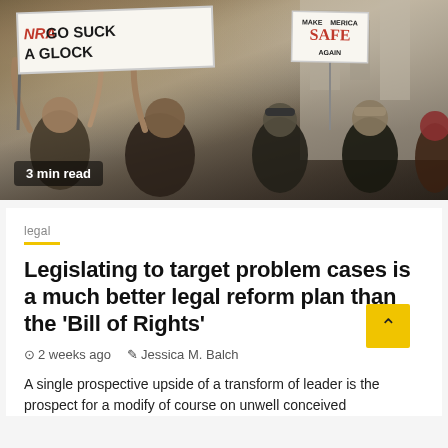[Figure (photo): Protest crowd holding signs including 'NRA GO SUCK A GLOCK' and 'MAKE AMERICA SAFE AGAIN' at a gun control demonstration, city building in background. Badge reads '3 min read'.]
legal
Legislating to target problem cases is a much better legal reform plan than the ‘Bill of Rights’
2 weeks ago   Jessica M. Balch
A single prospective upside of a transform of leader is the prospect for a modify of course on unwell conceived